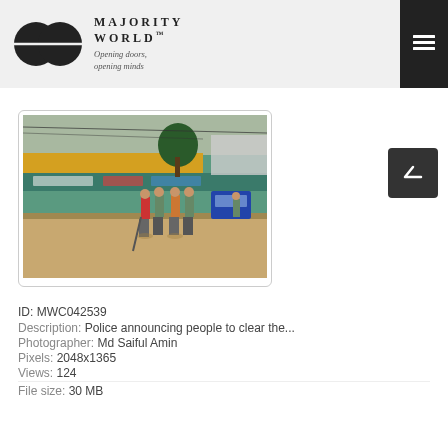MAJORITY WORLD™ — Opening doors, opening minds
[Figure (photo): Street scene showing police officers announcing people to clear the street in Bangladesh. Several officers stand on a road with colorful storefronts and billboards in the background.]
ID: MWC042539
Description: Police announcing people to clear the...
Photographer: Md Saiful Amin
Pixels: 2048x1365
Views: 124
File size: 30 MB